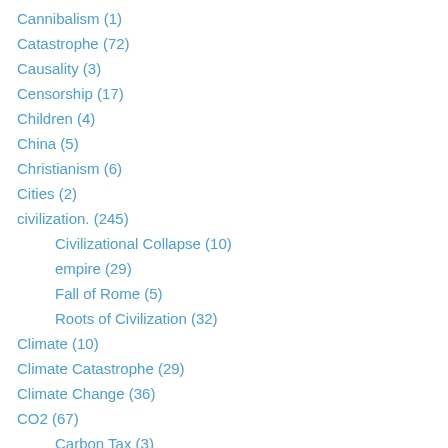Cannibalism (1)
Catastrophe (72)
Causality (3)
Censorship (17)
Children (4)
China (5)
Christianism (6)
Cities (2)
civilization. (245)
Civilizational Collapse (10)
empire (29)
Fall of Rome (5)
Roots of Civilization (32)
Climate (10)
Climate Catastrophe (29)
Climate Change (36)
CO2 (67)
Carbon Tax (3)
Global Acid (5)
Global Warming (33)